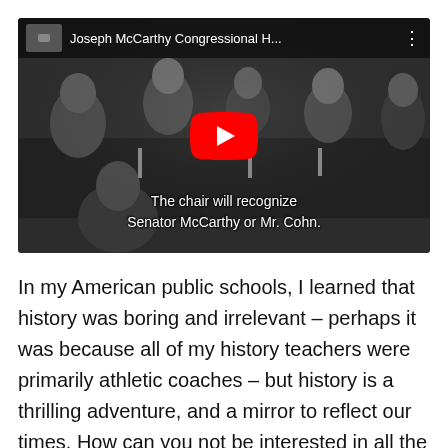[Figure (screenshot): YouTube video thumbnail showing a black and white historical video titled 'Joseph McCarthy Congressional H...' with a large red YouTube play button in the center. The video shows people seated at a congressional hearing table. Subtitle text at the bottom reads: 'The chair will recognize Senator McCarthy or Mr. Cohn.']
In my American public schools, I learned that history was boring and irrelevant – perhaps it was because all of my history teachers were primarily athletic coaches – but history is a thrilling adventure, and a mirror to reflect our times. How can you not be interested in all the great and horrible details?